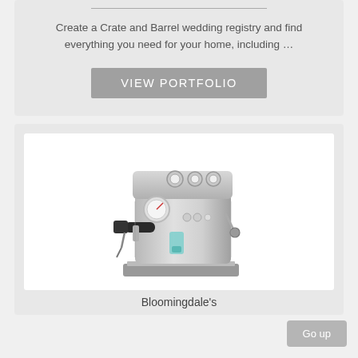Create a Crate and Barrel wedding registry and find everything you need for your home, including …
VIEW PORTFOLIO
[Figure (photo): Stainless steel espresso machine with black portafilter handle and steam wand, displayed on white background]
Bloomingdale's
Go up